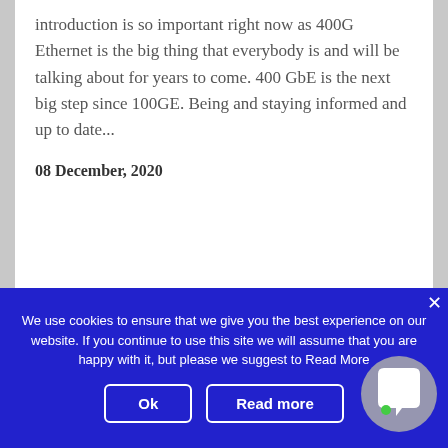introduction is so important right now as 400G Ethernet is the big thing that everybody is and will be talking about for years to come. 400 GbE is the next big step since 100GE. Being and staying informed and up to date...
08 December, 2020
We use cookies to ensure that we give you the best experience on our website. If you continue to use this site we will assume that you are happy with it, but please we suggest to Read More